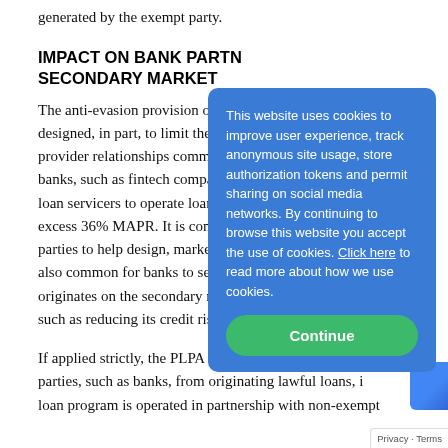generated by the exempt party.
IMPACT ON BANK PARTN… SECONDARY MARKET
The anti-evasion provision of the … designed, in part, to limit the use … provider relationships commonly … banks, such as fintech companies. … loan servicers to operate loan pro… excess 36% MAPR. It is common… parties to help design, market and … also common for banks to sell loa… originates on the secondary marke… such as reducing its credit risk an…
If applied strictly, the PLPA may … parties, such as banks, from originating lawful loans, if … loan program is operated in partnership with non-exempt…
[Figure (screenshot): Cookie consent overlay with blue background. Text reads: 'This website uses cookies to improve user experience, track anonymous site usage, store authorization tokens and permit sharing on social media networks. By continuing to browse this website you accept the use of cookies. Click here to read more about how we use cookies.' Green 'Continue' button at bottom.]